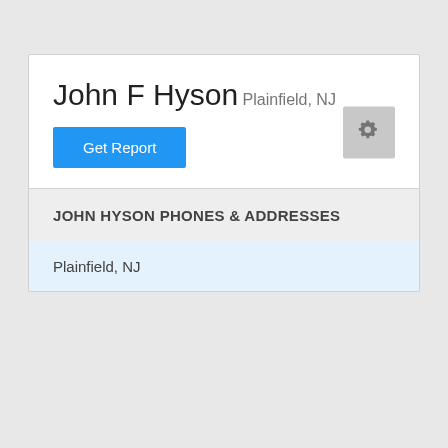John F Hyson
Plainfield, NJ
Get Report
JOHN HYSON PHONES & ADDRESSES
Plainfield, NJ